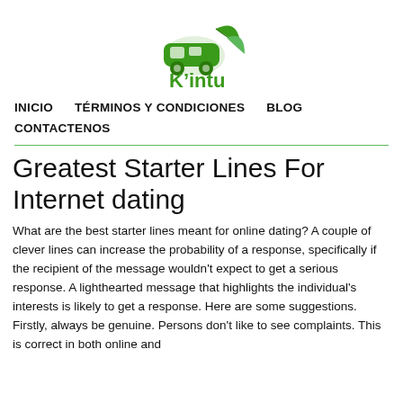[Figure (logo): K'intu logo: green bus/car icon with leaf, green text 'K’intu' below]
INICIO   TÉRMINOS Y CONDICIONES   BLOG
CONTACTENOS
Greatest Starter Lines For Internet dating
What are the best starter lines meant for online dating? A couple of clever lines can increase the probability of a response, specifically if the recipient of the message wouldn't expect to get a serious response. A lighthearted message that highlights the individual's interests is likely to get a response. Here are some suggestions. Firstly, always be genuine. Persons don't like to see complaints. This is correct in both online and